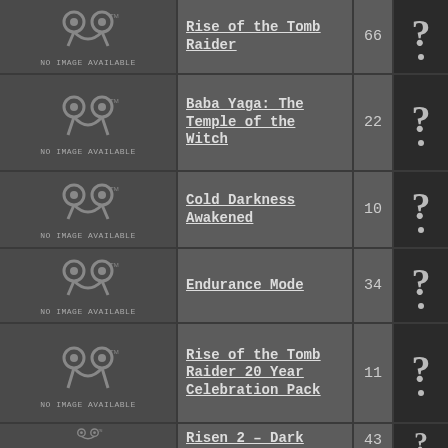| Thumbnail | Title | Count | Achievement |
| --- | --- | --- | --- |
| NO IMAGE AVAILABLE | Rise of the Tomb Raider | 66 | ? |
| NO IMAGE AVAILABLE | Baba Yaga: The Temple of the Witch | 22 | ? |
| NO IMAGE AVAILABLE | Cold Darkness Awakened | 10 | ? |
| NO IMAGE AVAILABLE | Endurance Mode | 34 | ? |
| NO IMAGE AVAILABLE | Rise of the Tomb Raider 20 Year Celebration Pack | 11 | ? |
| NO IMAGE AVAILABLE | Risen 2 - Dark Waters | 43 | ? |